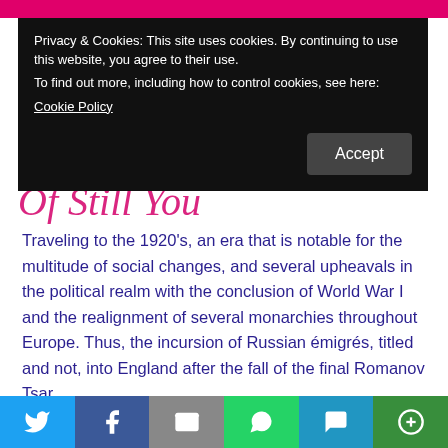Privacy & Cookies: This site uses cookies. By continuing to use this website, you agree to their use.
To find out more, including how to control cookies, see here:
Cookie Policy
Traveling to the 1920's, an era that is notable for the multitude of social changes, and several upheavals in the political realm with the conclusion of World War I and the realignment of several monarchies throughout Europe. Thus, the incursion of Russian émigrés, titled and not, into England after the fall of the final Romanov Tsar.
Here we find Alecia, newly arrived to London as a